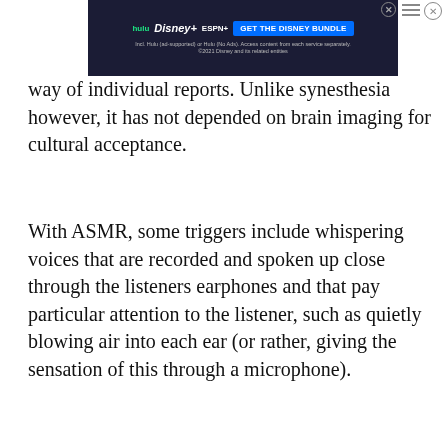[Figure (other): Advertisement banner for Disney Bundle (Hulu, Disney+, ESPN+) at top of page]
way of individual reports. Unlike synesthesia however, it has not depended on brain imaging for cultural acceptance.
With ASMR, some triggers include whispering voices that are recorded and spoken up close through the listeners earphones and that pay particular attention to the listener, such as quietly blowing air into each ear (or rather, giving the sensation of this through a microphone).
[Figure (other): Filter/funnel icon in teal color, and circular X close button on right]
Some people on the other hand enjoy listening to the so[und of] [stirr]ing a bowl of soup, the crinkle of paper or plastic or [a gen]t trickling to[...]  Others report it is related to
[Figure (other): Second Disney Bundle advertisement banner overlay at bottom of page]